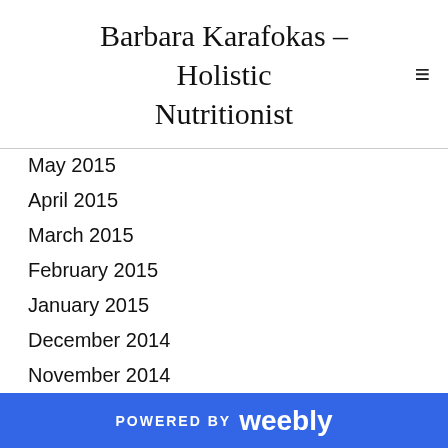Barbara Karafokas - Holistic Nutritionist
May 2015
April 2015
March 2015
February 2015
January 2015
December 2014
November 2014
October 2014
September 2014
August 2014
July 2014
June 2014
May 2014
April 2014
POWERED BY weebly